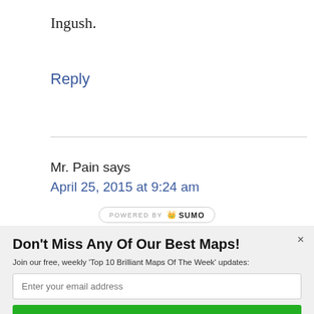Ingush.
Reply
Mr. Pain says
April 25, 2015 at 9:24 am
[Figure (logo): POWERED BY SUMO logo badge]
Don't Miss Any Of Our Best Maps!
Join our free, weekly 'Top 10 Brilliant Maps Of The Week' updates:
Enter your email address
Yes, Send Me More Brilliant Maps